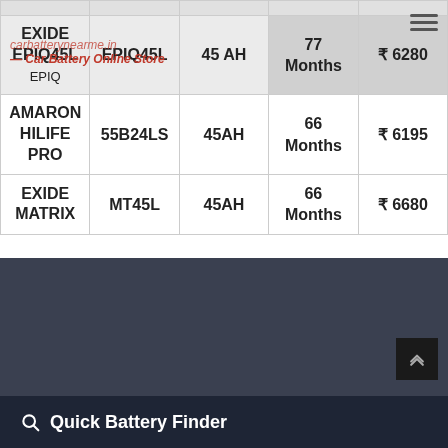| Brand | Model | Capacity | Warranty | Price |
| --- | --- | --- | --- | --- |
| EXIDE EPIQ | EPIQ45L | 45 AH | 77 Months | ₹ 6280 |
| AMARON HILIFE PRO | 55B24LS | 45AH | 66 Months | ₹ 6195 |
| EXIDE MATRIX | MT45L | 45AH | 66 Months | ₹ 6680 |
[Figure (screenshot): Dark blurred background section showing a car battery store environment]
Q Quick Battery Finder